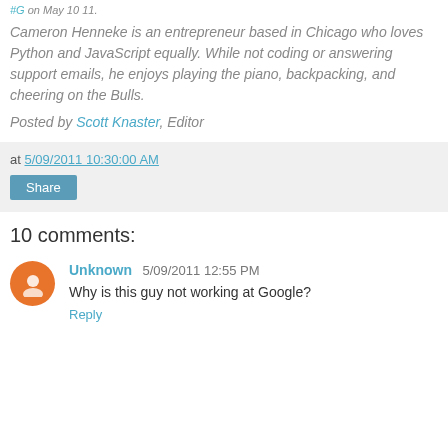#G on May 10 11.
Cameron Henneke is an entrepreneur based in Chicago who loves Python and JavaScript equally. While not coding or answering support emails, he enjoys playing the piano, backpacking, and cheering on the Bulls.
Posted by Scott Knaster, Editor
at 5/09/2011 10:30:00 AM
Share
10 comments:
Unknown  5/09/2011 12:55 PM
Why is this guy not working at Google?
Reply